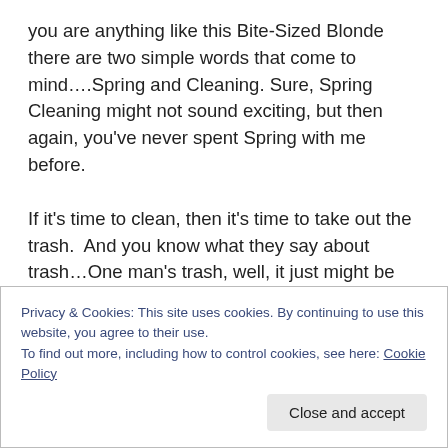you are anything like this Bite-Sized Blonde there are two simple words that come to mind....Spring and Cleaning. Sure, Spring Cleaning might not sound exciting, but then again, you've never spent Spring with me before.

If it's time to clean, then it's time to take out the trash. And you know what they say about trash…One man's trash, well, it just might be delicious. White chocolate trash is one of those irresistible snacks; it's like confetti with different flavors and textures. Smooth white chocolate, mixed with crunchy nuts, salty pretzels and sweet cereal
Privacy & Cookies: This site uses cookies. By continuing to use this website, you agree to their use.
To find out more, including how to control cookies, see here: Cookie Policy
Close and accept